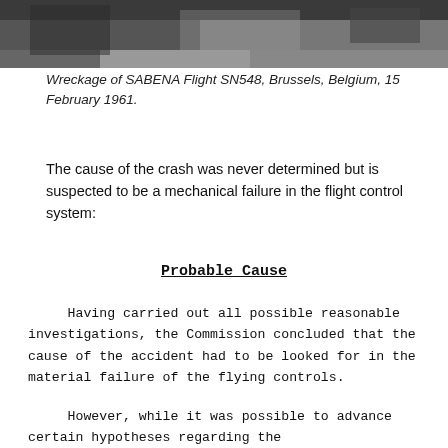[Figure (photo): Black and white photograph showing wreckage of SABENA Flight SN548 in Brussels, Belgium, 15 February 1961.]
Wreckage of SABENA Flight SN548, Brussels, Belgium, 15 February 1961.
The cause of the crash was never determined but is suspected to be a mechanical failure in the flight control system:
Probable Cause
Having carried out all possible reasonable investigations, the Commission concluded that the cause of the accident had to be looked for in the material failure of the flying controls.
However, while it was possible to advance certain hypotheses regarding the